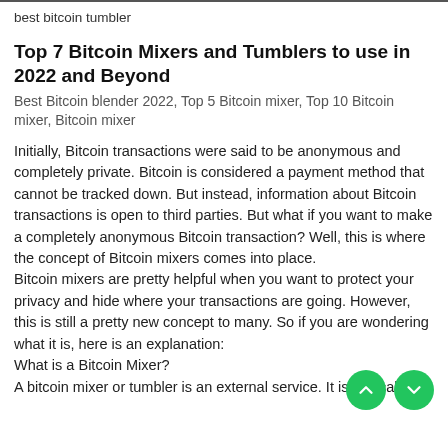best bitcoin tumbler
Top 7 Bitcoin Mixers and Tumblers to use in 2022 and Beyond
Best Bitcoin blender 2022, Top 5 Bitcoin mixer, Top 10 Bitcoin mixer, Bitcoin mixer
Initially, Bitcoin transactions were said to be anonymous and completely private. Bitcoin is considered a payment method that cannot be tracked down. But instead, information about Bitcoin transactions is open to third parties. But what if you want to make a completely anonymous Bitcoin transaction? Well, this is where the concept of Bitcoin mixers comes into place.
Bitcoin mixers are pretty helpful when you want to protect your privacy and hide where your transactions are going. However, this is still a pretty new concept to many. So if you are wondering what it is, here is an explanation:
What is a Bitcoin Mixer?
A bitcoin mixer or tumbler is an external service. It is basically